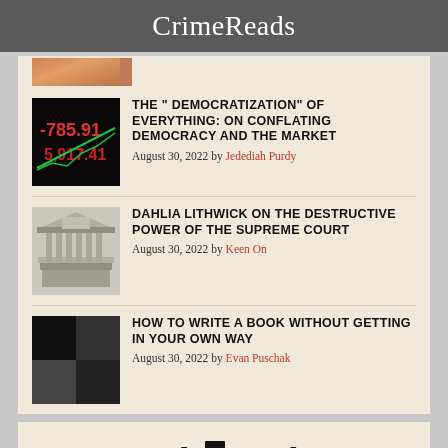CrimeReads
THE “ DEMOCRATIZATION” OF EVERYTHING: ON CONFLATING DEMOCRACY AND THE MARKET
August 30, 2022 by Jedediah Purdy
DAHLIA LITHWICK ON THE DESTRUCTIVE POWER OF THE SUPREME COURT
August 30, 2022 by Keen On
HOW TO WRITE A BOOK WITHOUT GETTING IN YOUR OWN WAY
August 30, 2022 by Evan Puschak
[Figure (logo): Book Marks logo with bookmark icon between words]